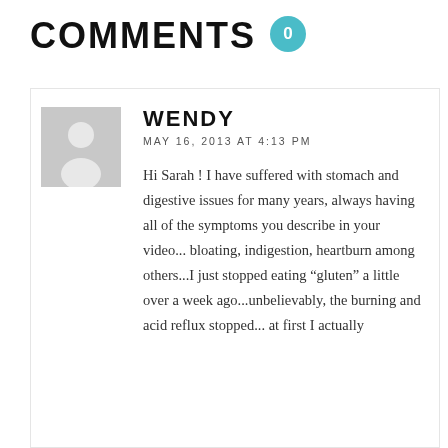COMMENTS 0
[Figure (illustration): User avatar placeholder — grey square with white silhouette of a person]
WENDY
MAY 16, 2013 AT 4:13 PM
Hi Sarah ! I have suffered with stomach and digestive issues for many years, always having all of the symptoms you describe in your video... bloating, indigestion, heartburn among others...I just stopped eating “gluten” a little over a week ago...unbelievably, the burning and acid reflux stopped... at first I actually